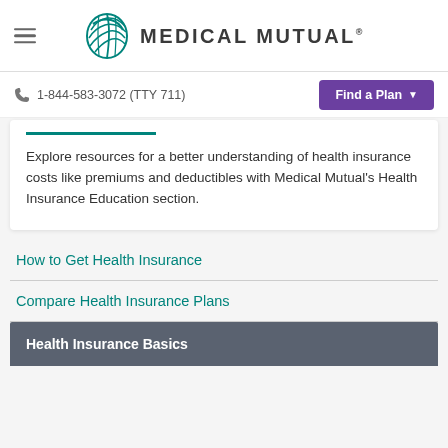[Figure (logo): Medical Mutual logo with teal circular swoosh graphic and bold uppercase text 'MEDICAL MUTUAL' with registered trademark symbol]
1-844-583-3072 (TTY 711)
Explore resources for a better understanding of health insurance costs like premiums and deductibles with Medical Mutual's Health Insurance Education section.
How to Get Health Insurance
Compare Health Insurance Plans
Health Insurance Basics